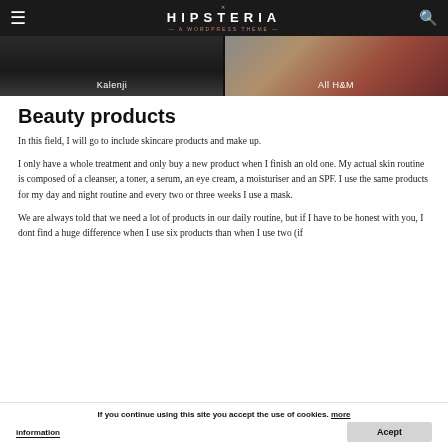HIPSTERIA — A WORDPRESS THEME
[Figure (photo): Two-panel image strip: left panel shows dark background with 'Kalenji' label overlay; right panel shows red/burgundy textured material with 'All H&M' label overlay]
Beauty products
In this field, I will go to include skincare products and make up.
I only have a whole treatment and only buy a new product when I finish an old one. My actual skin routine is composed of a cleanser, a toner, a serum, an eye cream, a moisturiser and an SPF. I use the same products for my day and night routine and every two or three weeks I use a mask.
We are always told that we need a lot of products in our daily routine, but if I have to be honest with you, I dont find a huge difference when I use six products than when I use two (if
If you continue using this site you accept the use of cookies. more information | Accept